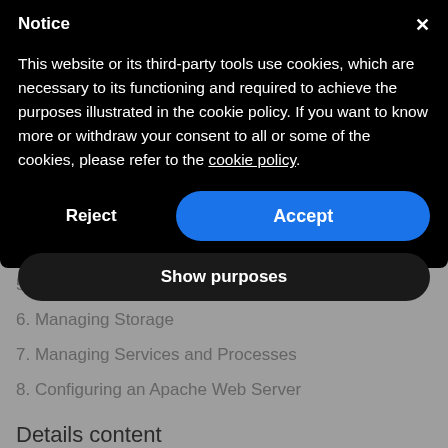Notice
This website or its third-party tools use cookies, which are necessary to its functioning and required to achieve the purposes illustrated in the cookie policy. If you want to know more or withdraw your consent to all or some of the cookies, please refer to the cookie policy.
5. Managing Software
6. Managing Storage
7. Managing Services and Processes
8. Configuring an Apache Web Server
Details content